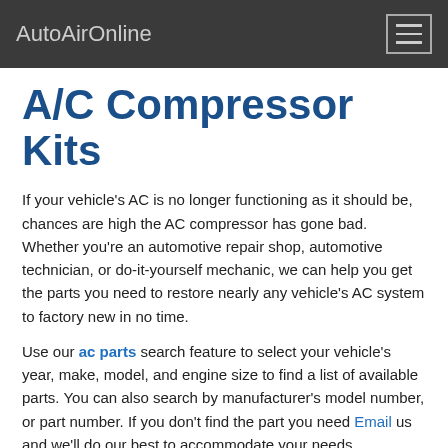AutoAirOnline
A/C Compressor Kits
If your vehicle's AC is no longer functioning as it should be, chances are high the AC compressor has gone bad. Whether you're an automotive repair shop, automotive technician, or do-it-yourself mechanic, we can help you get the parts you need to restore nearly any vehicle's AC system to factory new in no time.
Use our ac parts search feature to select your vehicle's year, make, model, and engine size to find a list of available parts. You can also search by manufacturer's model number, or part number. If you don't find the part you need Email us and we'll do our best to accommodate your needs.
When you order your AC compressor kit from us, you'll get all the parts you need to do the job right. Our kits include new compressor with clutch assembly, accumulator/ receiver drier, expansion valve/ orifice tube, rapid seal kit, refrigerant oil, installation instructions, and your vehicles refrigerant and oil capacities. Our kits are